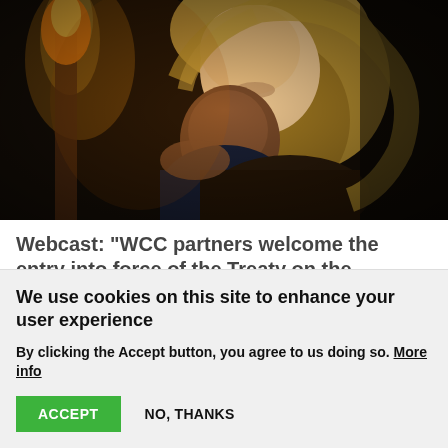[Figure (photo): A woman with blonde hair smiling while hugging a young child, photographed in a dark outdoor setting with bokeh/fire light in background]
Webcast: "WCC partners welcome the entry into force of the Treaty on the Prohibition of Nuclear Weapons"
27 January 2021
We use cookies on this site to enhance your user experience
By clicking the Accept button, you agree to us doing so. More info
ACCEPT   NO, THANKS